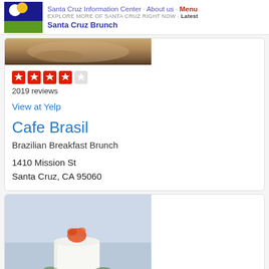Santa Cruz Information Center · About us · Menu | EXPLORE MORE OF SANTA CRUZ RIGHT NOW · Latest | Santa Cruz Brunch
[Figure (photo): Partial food photo (top portion), brown tones suggesting a dish or plate]
2019 reviews
View at Yelp
Cafe Brasil
Brazilian Breakfast Brunch
1410 Mission St
Santa Cruz, CA 95060
[Figure (photo): A white frosted cake with orange and red floral topping and green botanical decorations, on a light blue-grey background]